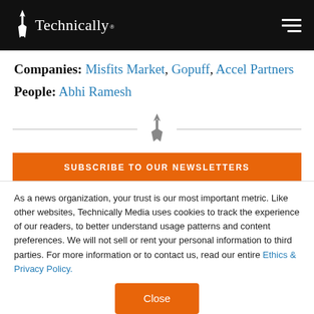Technically
Companies: Misfits Market, Gopuff, Accel Partners
People: Abhi Ramesh
[Figure (other): Decorative divider with Technically Media tower icon between two horizontal lines]
SUBSCRIBE TO OUR NEWSLETTERS
As a news organization, your trust is our most important metric. Like other websites, Technically Media uses cookies to track the experience of our readers, to better understand usage patterns and content preferences. We will not sell or rent your personal information to third parties. For more information or to contact us, read our entire Ethics & Privacy Policy.
Close